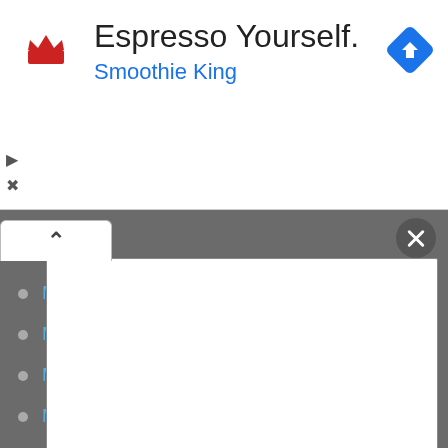[Figure (screenshot): Smoothie King advertisement banner with logo, tagline 'Espresso Yourself.' and navigation icon]
Espresso Yourself.
Smoothie King
[Figure (screenshot): White modal/popup panel with collapse tab and close button over dark gray background]
MBBS
MCA
ME / M Tech
MSW